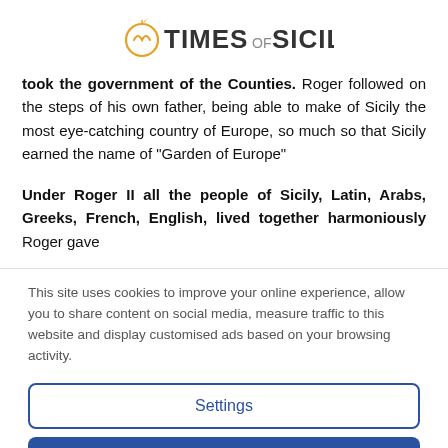TIMES OF SICILY
took the government of the Counties. Roger followed on the steps of his own father, being able to make of Sicily the most eye-catching country of Europe, so much so that Sicily earned the name of “Garden of Europe”
Under Roger II all the people of Sicily, Latin, Arabs, Greeks, French, English, lived together harmoniously Roger gave
This site uses cookies to improve your online experience, allow you to share content on social media, measure traffic to this website and display customised ads based on your browsing activity.
Settings
Accept